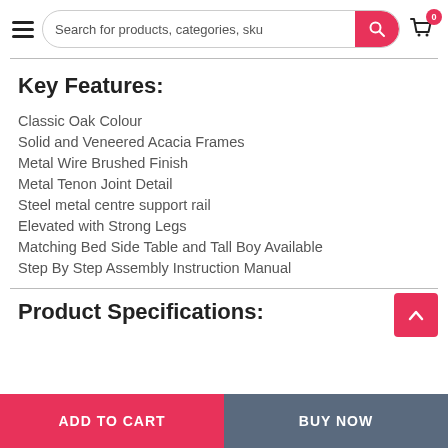Search for products, categories, sku
Key Features:
Classic Oak Colour
Solid and Veneered Acacia Frames
Metal Wire Brushed Finish
Metal Tenon Joint Detail
Steel metal centre support rail
Elevated with Strong Legs
Matching Bed Side Table and Tall Boy Available
Step By Step Assembly Instruction Manual
Product Specifications:
ADD TO CART | BUY NOW